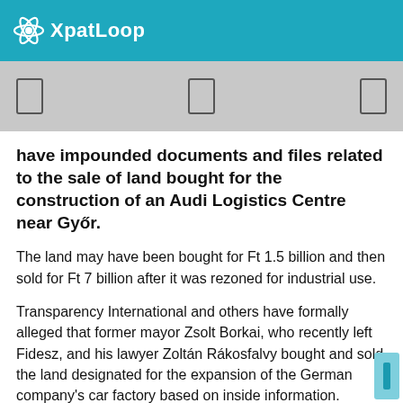XpatLoop
[Figure (other): Navigation bar with three icon buttons on grey background]
have impounded documents and files related to the sale of land bought for the construction of an Audi Logistics Centre near Győr.
The land may have been bought for Ft 1.5 billion and then sold for Ft 7 billion after it was rezoned for industrial use.
Transparency International and others have formally alleged that former mayor Zsolt Borkai, who recently left Fidesz, and his lawyer Zoltán Rákosfalvy bought and sold the land designated for the expansion of the German company's car factory based on inside information.